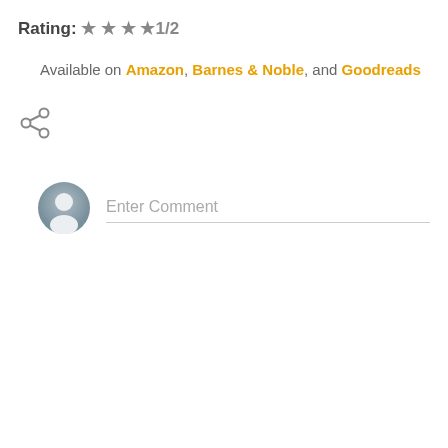Rating: ★ ★ ★ ★1/2
Available on Amazon, Barnes & Noble, and Goodreads
[Figure (illustration): Share icon (less-than style share symbol in grey)]
[Figure (illustration): User avatar circle with generic person silhouette in blue-grey gradient]
Enter Comment